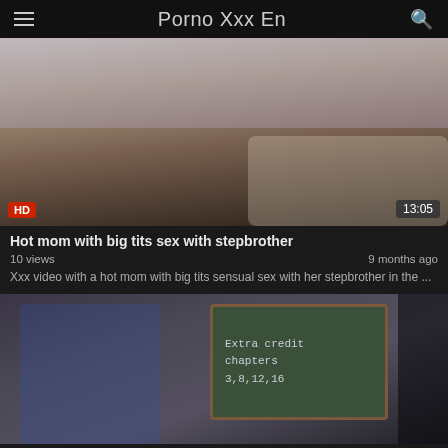Porno Xxx En
[Figure (photo): Video thumbnail showing a blonde woman on a couch with HD badge and 13:05 duration]
Hot mom with big tits sex with stepbrother
10 views   9 months ago
Xxx video with a hot mom with big tits sensual sex with her stepbrother in the ...
[Figure (photo): Video thumbnail showing a blonde woman in blue near a chalkboard reading 'Extra credit chapters 3,8,12,16']